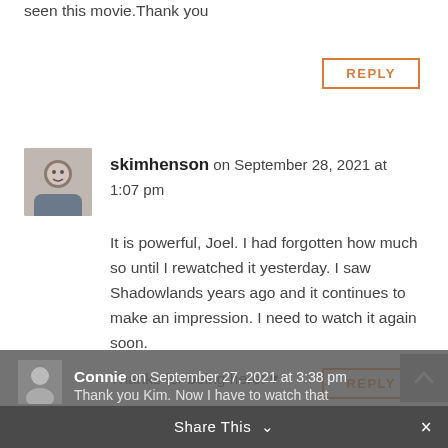seen this movie.Thank you
REPLY
skimhenson on September 28, 2021 at 1:07 pm
It is powerful, Joel. I had forgotten how much so until I rewatched it yesterday. I saw Shadowlands years ago and it continues to make an impression. I need to watch it again soon.

Thanks for being here! ♥
REPLY
Connie on September 27, 2021 at 3:38 pm
Thank you Kim. Now I have to watch that
Share This